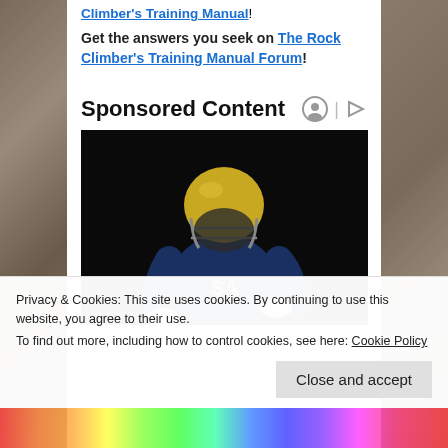Climber's Training Manual!
Get the answers you seek on The Rock Climber's Training Manual Forum!
Sponsored Content
[Figure (photo): Football player in navy blue uniform with gold helmet pointing at the camera against a dark background]
Privacy & Cookies: This site uses cookies. By continuing to use this website, you agree to their use.
To find out more, including how to control cookies, see here: Cookie Policy